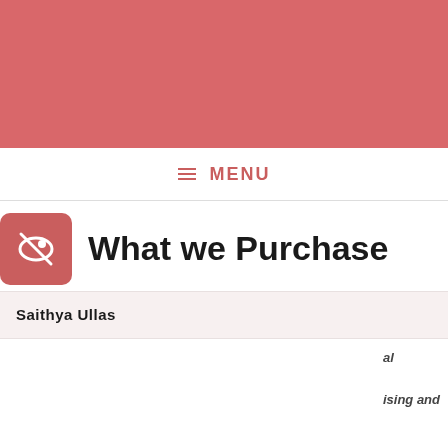[Figure (other): Red/salmon colored header banner background]
≡ MENU
What we Purchase
Saithya Ullas
Like most websites we use cookies to deliver a personalised service. To use the website as intended please accept cookies.
Accept Cookies